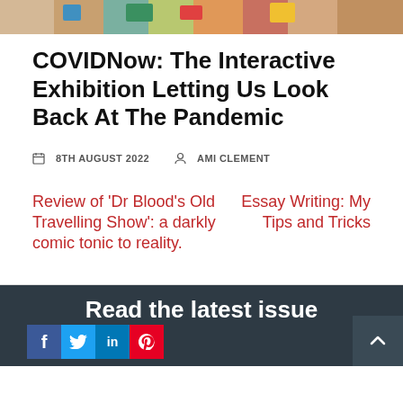[Figure (photo): Colorful collage of images at the top of the article page]
COVIDNow: The Interactive Exhibition Letting Us Look Back At The Pandemic
8TH AUGUST 2022   AMI CLEMENT
Review of ‘Dr Blood’s Old Travelling Show’: a darkly comic tonic to reality.
Essay Writing: My Tips and Tricks
Read the latest issue